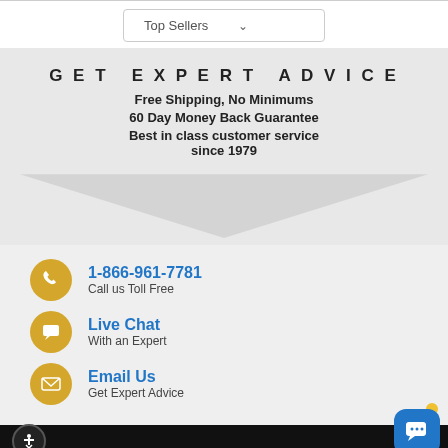Top Sellers
GET EXPERT ADVICE
Free Shipping, No Minimums
60 Day Money Back Guarantee
Best in class customer service since 1979
1-866-961-7781
Call us Toll Free
Live Chat
With an Expert
Email Us
Get Expert Advice